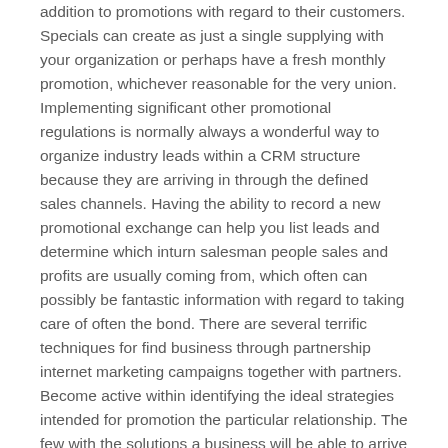addition to promotions with regard to their customers. Specials can create as just a single supplying with your organization or perhaps have a fresh monthly promotion, whichever reasonable for the very union. Implementing significant other promotional regulations is normally always a wonderful way to organize industry leads within a CRM structure because they are arriving in through the defined sales channels. Having the ability to record a new promotional exchange can help you list leads and determine which inturn salesman people sales and profits are usually coming from, which often can possibly be fantastic information with regard to taking care of often the bond. There are several terrific techniques for find business through partnership internet marketing campaigns together with partners. Become active within identifying the ideal strategies intended for promotion the particular relationship. The few with the solutions a business will be able to arrive at out to pre-existing consumers would be to give them a special